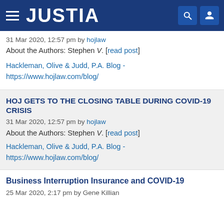JUSTIA
31 Mar 2020, 12:57 pm by hojlaw
About the Authors: Stephen V. [read post]
Hackleman, Olive & Judd, P.A. Blog - https://www.hojlaw.com/blog/
HOJ GETS TO THE CLOSING TABLE DURING COVID-19 CRISIS
31 Mar 2020, 12:57 pm by hojlaw
About the Authors: Stephen V. [read post]
Hackleman, Olive & Judd, P.A. Blog - https://www.hojlaw.com/blog/
Business Interruption Insurance and COVID-19
25 Mar 2020, 2:17 pm by Gene Killian